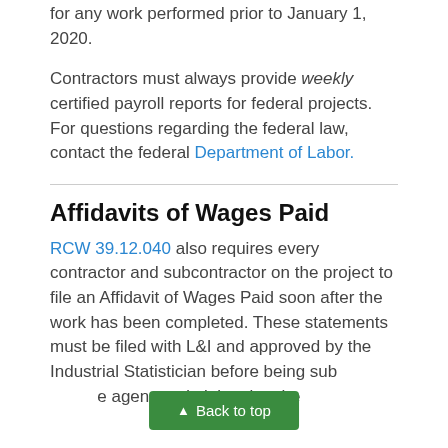for any work performed prior to January 1, 2020.
Contractors must always provide weekly certified payroll reports for federal projects. For questions regarding the federal law, contact the federal Department of Labor.
Affidavits of Wages Paid
RCW 39.12.040 also requires every contractor and subcontractor on the project to file an Affidavit of Wages Paid soon after the work has been completed. These statements must be filed with L&I and approved by the Industrial Statistician before being submitted to the agency administering the